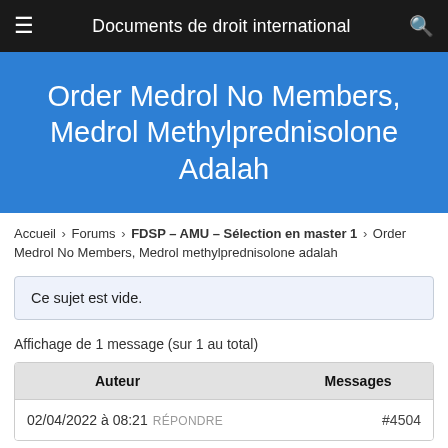Documents de droit international
Order Medrol No Members, Medrol Methylprednisolone Adalah
Accueil › Forums › FDSP – AMU – Sélection en master 1 › Order Medrol No Members, Medrol methylprednisolone adalah
Ce sujet est vide.
Affichage de 1 message (sur 1 au total)
| Auteur | Messages |
| --- | --- |
| 02/04/2022 à 08:21 RÉPONDRE | #4504 |